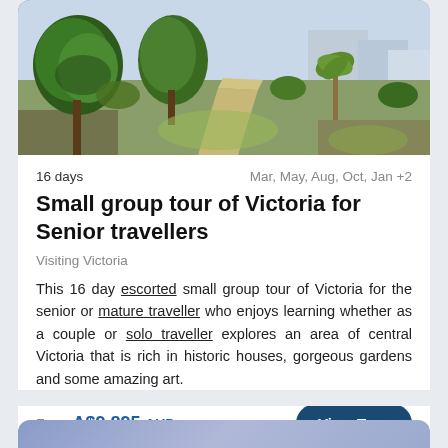[Figure (photo): Aerial/elevated view of Victoria parkland with tall eucalyptus and palm trees, paths, and buildings in background]
16 days
Mar, May, Aug, Oct, Jan +2
Small group tour of Victoria for Senior travellers
Visiting Victoria
This 16 day escorted small group tour of Victoria for the senior or mature traveller who enjoys learning whether as a couple or solo traveller explores an area of central Victoria that is rich in historic houses, gorgeous gardens and some amazing art.
From A$9,895 AUD
View Tour